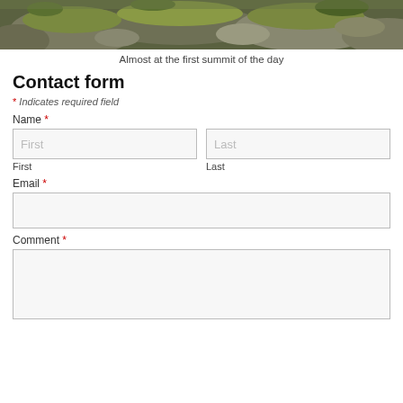[Figure (photo): Photo of mossy rocks and stones, taken on a hiking trail near a summit]
Almost at the first summit of the day
Contact form
* Indicates required field
Name *
First
Last
Email *
Comment *